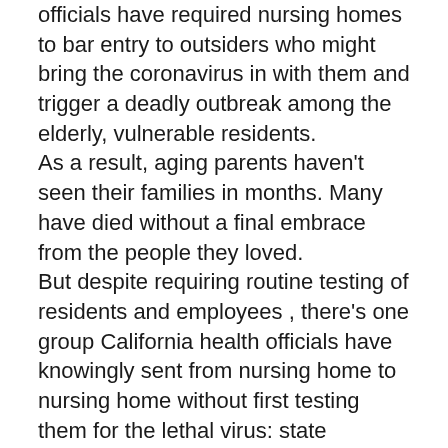officials have required nursing homes to bar entry to outsiders who might bring the coronavirus in with them and trigger a deadly outbreak among the elderly, vulnerable residents. As a result, aging parents haven't seen their families in months. Many have died without a final embrace from the people they loved. But despite requiring routine testing of residents and employees , there's one group California health officials have knowingly sent from nursing home to nursing home without first testing them for the lethal virus: state inspectors. Interviews with eight registered nurses working as inspectors for the California Department of Public Health — all of whom spoke on condition of anonymity for fear of retaliation — revealed that the department has not provided coronavirus testing for the very people it is